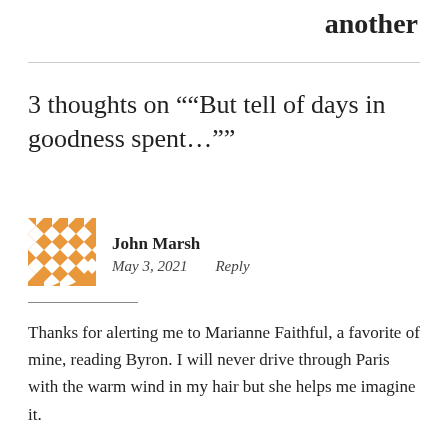another
3 thoughts on "“But tell of days in goodness spent…”"
John Marsh
May 3, 2021    Reply
Thanks for alerting me to Marianne Faithful, a favorite of mine, reading Byron. I will never drive through Paris with the warm wind in my hair but she helps me imagine it.